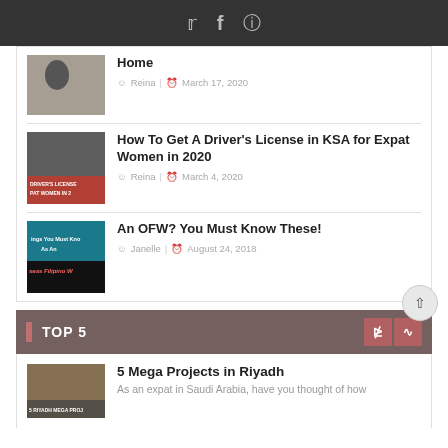Social media icons: Twitter, Facebook, Instagram
Home
Reina | March 17, 2020
How To Get A Driver's License in KSA for Expat Women in 2020
Reina | March 4, 2020
An OFW? You Must Know These!
Janelle | August 24, 2018
TOP 5
5 Mega Projects in Riyadh
As an expat in Saudi Arabia, have you thought of how